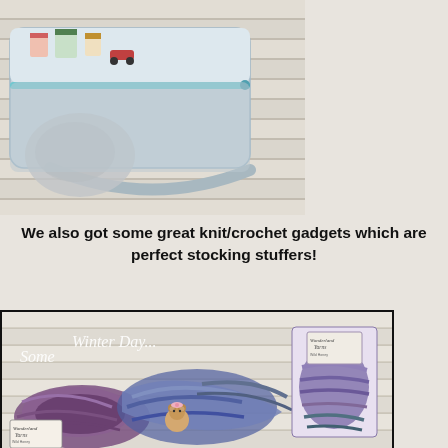[Figure (photo): A fabric zippered pouch/bag with illustrated print featuring houses and cars, sitting on slatted wooden surface. Light blue zipper visible. Fluffy gray material peeking out.]
We also got some great knit/crochet gadgets which are perfect stocking stuffers!
[Figure (photo): Photo of Wonderland Yarns products labeled 'Some Winter Day...' showing braided skeins of purple, blue and gray yarn with a small decorative bear/animal figure and product label cards.]